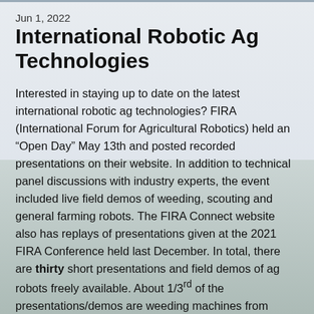Jun 1, 2022
International Robotic Ag Technologies
Interested in staying up to date on the latest international robotic ag technologies? FIRA (International Forum for Agricultural Robotics) held an “Open Day” May 13th and posted recorded presentations on their website. In addition to technical panel discussions with industry experts, the event included live field demos of weeding, scouting and general farming robots. The FIRA Connect website also has replays of presentations given at the 2021 FIRA Conference held last December. In total, there are thirty short presentations and field demos of ag robots freely available. About 1/3rd of the presentations/demos are weeding machines from Europe that utilize various methods for in-row weed removal – lasers, precision spot sprayers, concentrated light beams,